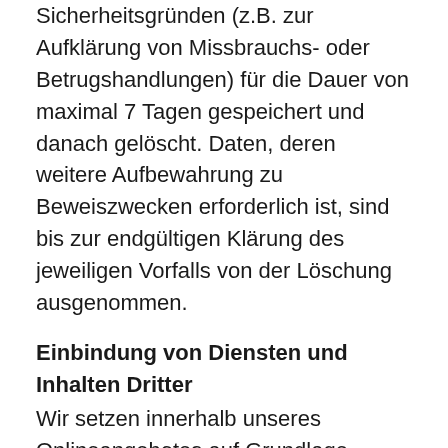Sicherheitsgründen (z.B. zur Aufklärung von Missbrauchs- oder Betrugshandlungen) für die Dauer von maximal 7 Tagen gespeichert und danach gelöscht. Daten, deren weitere Aufbewahrung zu Beweiszwecken erforderlich ist, sind bis zur endgültigen Klärung des jeweiligen Vorfalls von der Löschung ausgenommen.
Einbindung von Diensten und Inhalten Dritter
Wir setzen innerhalb unseres Onlineangebotes auf Grundlage unserer berechtigten Interessen (d.h. Interesse an der Analyse, Optimierung und wirtschaftlichem Betrieb unseres Onlineangebotes im Sinne des Art. 6 Abs. 1 lit. f. DSGVO) Inhalts- oder